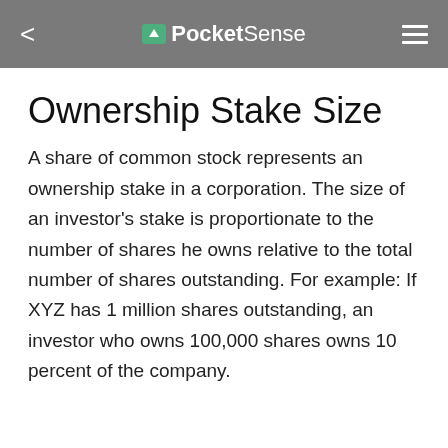PocketSense
Ownership Stake Size
A share of common stock represents an ownership stake in a corporation. The size of an investor's stake is proportionate to the number of shares he owns relative to the total number of shares outstanding. For example: If XYZ has 1 million shares outstanding, an investor who owns 100,000 shares owns 10 percent of the company.